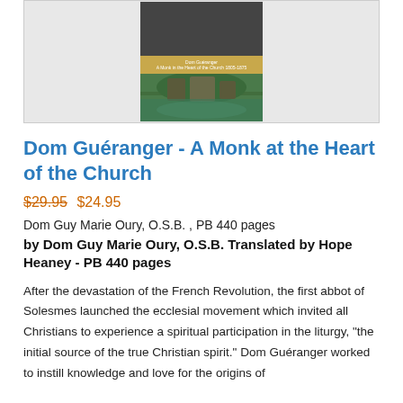[Figure (photo): Book cover for 'Dom Guéranger - A Monk at the Heart of the Church 1805-1875' showing a portrait photo at the top and a monastery building with its reflection in water at the bottom, with a golden banner in the middle.]
Dom Guéranger - A Monk at the Heart of the Church
$29.95 $24.95
Dom Guy Marie Oury, O.S.B. , PB 440 pages
by Dom Guy Marie Oury, O.S.B. Translated by Hope Heaney - PB 440 pages
After the devastation of the French Revolution, the first abbot of Solesmes launched the ecclesial movement which invited all Christians to experience a spiritual participation in the liturgy, "the initial source of the true Christian spirit." Dom Guéranger worked to instill knowledge and love for the origins of